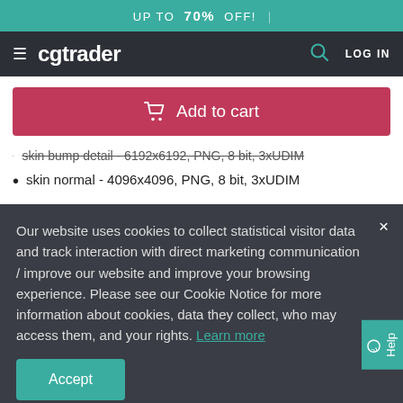UP TO 70% OFF!
cgtrader  LOG IN
[Figure (other): Add to cart button (red/pink)]
skin bump detail - 6192x6192, PNG, 8 bit, 3xUDIM
skin normal - 4096x4096, PNG, 8 bit, 3xUDIM
Our website uses cookies to collect statistical visitor data and track interaction with direct marketing communication / improve our website and improve your browsing experience. Please see our Cookie Notice for more information about cookies, data they collect, who may access them, and your rights. Learn more
20  0